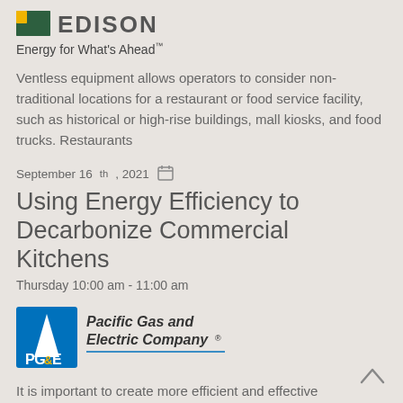[Figure (logo): Edison International logo with green and yellow square icon and EDISON text, partially visible at top]
Energy for What's Ahead™
Ventless equipment allows operators to consider non-traditional locations for a restaurant or food service facility, such as historical or high-rise buildings, mall kiosks, and food trucks. Restaurants
September 16th, 2021 🗓
Using Energy Efficiency to Decarbonize Commercial Kitchens
Thursday 10:00 am - 11:00 am
[Figure (logo): Pacific Gas and Electric Company (PG&E) logo with blue triangle icon and company name in bold italic text with a blue underline]
It is important to create more efficient and effective commercial kitchen equipment